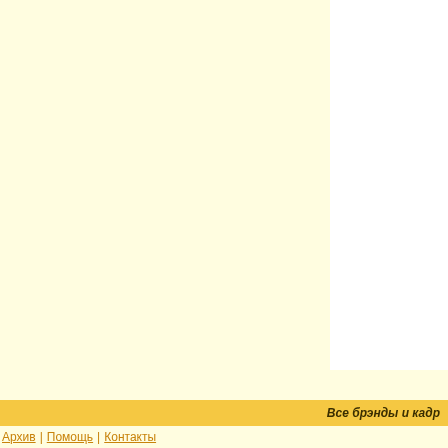Все брэнды и кадр
Архив | Помощь | Контакты